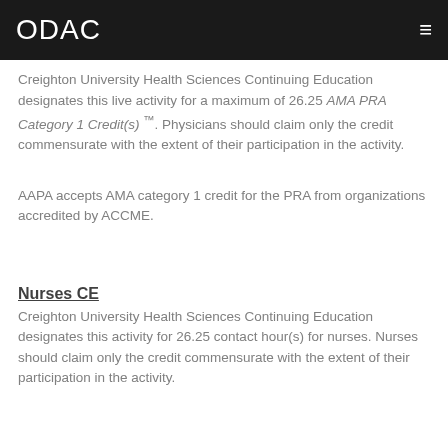ODAC
Creighton University Health Sciences Continuing Education designates this live activity for a maximum of 26.25 AMA PRA Category 1 Credit(s) ™. Physicians should claim only the credit commensurate with the extent of their participation in the activity.
AAPA accepts AMA category 1 credit for the PRA from organizations accredited by ACCME.
Nurses CE
Creighton University Health Sciences Continuing Education designates this activity for 26.25 contact hour(s) for nurses. Nurses should claim only the credit commensurate with the extent of their participation in the activity.